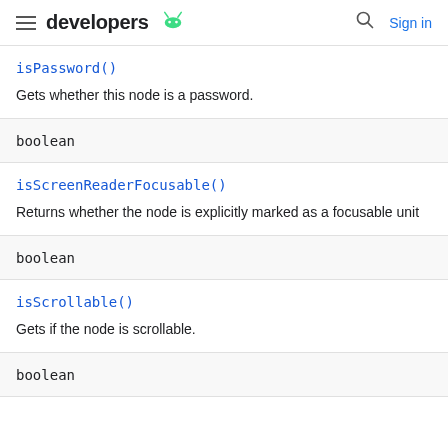developers
isPassword()
Gets whether this node is a password.
boolean
isScreenReaderFocusable()
Returns whether the node is explicitly marked as a focusable unit
boolean
isScrollable()
Gets if the node is scrollable.
boolean